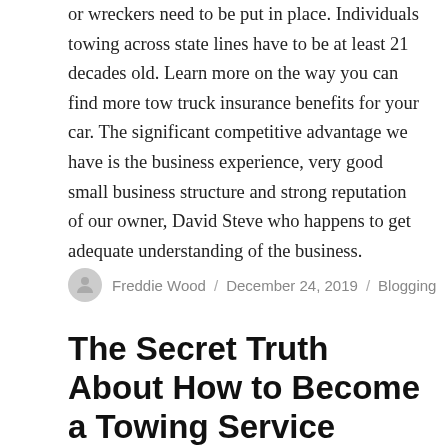or wreckers need to be put in place. Individuals towing across state lines have to be at least 21 decades old. Learn more on the way you can find more tow truck insurance benefits for your car. The significant competitive advantage we have is the business experience, very good small business structure and strong reputation of our owner, David Steve who happens to get adequate understanding of the business.
Freddie Wood / December 24, 2019 / Blogging
The Secret Truth About How to Become a Towing Service Provider for Geico Exposed